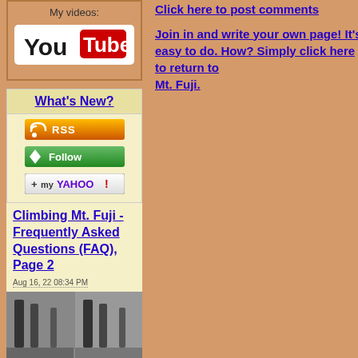My videos:
[Figure (logo): YouTube logo]
What's New?
[Figure (infographic): RSS feed button]
[Figure (infographic): Follow button]
[Figure (infographic): My Yahoo! button]
Climbing Mt. Fuji - Frequently Asked Questions (FAQ), Page 2
Aug 16, 22 08:34 PM
[Figure (photo): Two grayscale thumbnail images of Mt. Fuji climbing]
Click here to post comments
Join in and write your own page! It's easy to do. How? Simply click here to return to Mt. Fuji.